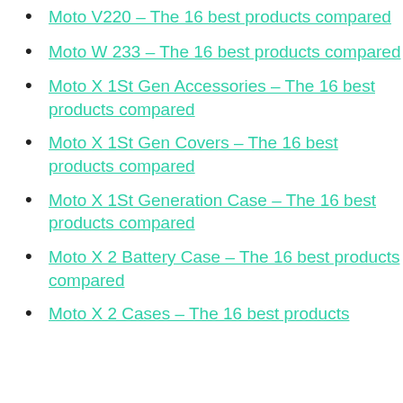Moto V220 – The 16 best products compared
Moto W 233 – The 16 best products compared
Moto X 1St Gen Accessories – The 16 best products compared
Moto X 1St Gen Covers – The 16 best products compared
Moto X 1St Generation Case – The 16 best products compared
Moto X 2 Battery Case – The 16 best products compared
Moto X 2 Cases – The 16 best products